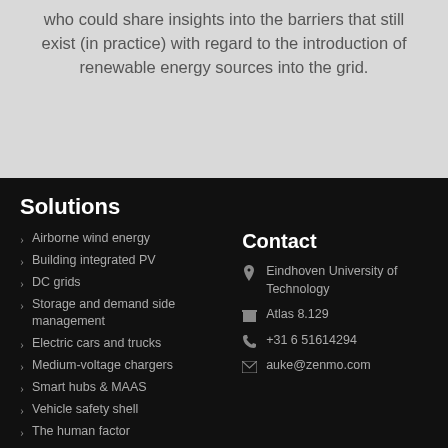who could share insights into the barriers that still exist (in practice) with regard to the introduction of renewable energy sources into the grid.
Solutions
Airborne wind energy
Building integrated PV
DC grids
Storage and demand side management
Electric cars and trucks
Medium-voltage chargers
Smart hubs & MAAS
Vehicle safety shell
The human factor
Governing transitions
Standardization
Contact
Eindhoven University of Technology
Atlas 8.129
+31 6 51614294
auke@zenmo.com